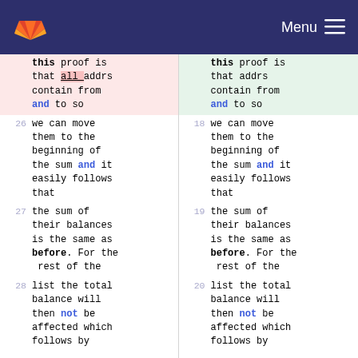GitLab navigation with Menu
| Line (left) | Content (left) | Line (right) | Content (right) |
| --- | --- | --- | --- |
|  | this proof is that all_addrs contain from and to so |  | this proof is that addrs contain from and to so |
| 26 | we can move them to the beginning of the sum and it easily follows that | 18 | we can move them to the beginning of the sum and it easily follows that |
| 27 | the sum of their balances is the same as before. For the rest of the | 19 | the sum of their balances is the same as before. For the rest of the |
| 28 | list the total balance will then not be affected which follows by | 20 | list the total balance will then not be affected which follows by |